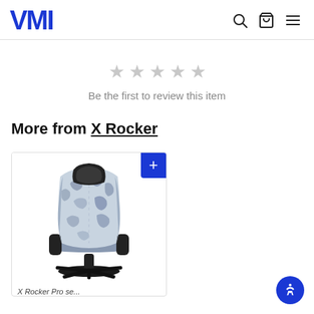VMI
Be the first to review this item
More from X Rocker
[Figure (photo): Gaming chair with camouflage blue/white/grey pattern upholstery, racing-style high-back design, armrests, and pedestal base — X Rocker brand product photo on white background.]